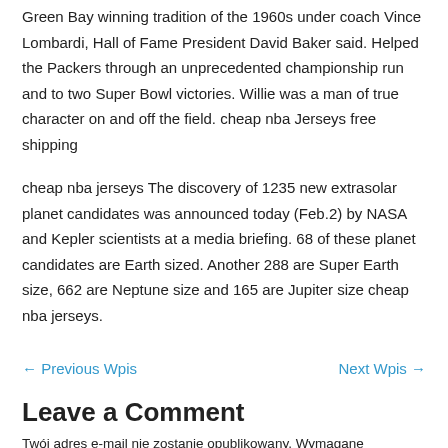Green Bay winning tradition of the 1960s under coach Vince Lombardi, Hall of Fame President David Baker said. Helped the Packers through an unprecedented championship run and to two Super Bowl victories. Willie was a man of true character on and off the field. cheap nba Jerseys free shipping
cheap nba jerseys The discovery of 1235 new extrasolar planet candidates was announced today (Feb.2) by NASA and Kepler scientists at a media briefing. 68 of these planet candidates are Earth sized. Another 288 are Super Earth size, 662 are Neptune size and 165 are Jupiter size cheap nba jerseys.
← Previous Wpis    Next Wpis →
Leave a Comment
Twój adres e-mail nie zostanie opublikowany. Wymagane